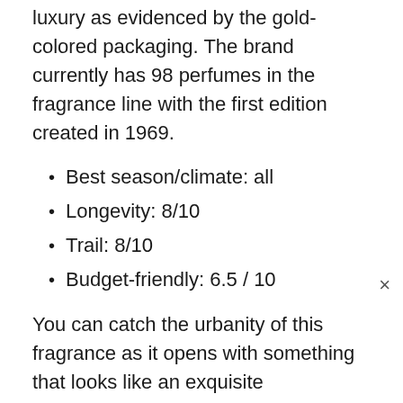luxury as evidenced by the gold-colored packaging. The brand currently has 98 perfumes in the fragrance line with the first edition created in 1969.
Best season/climate: all
Longevity: 8/10
Trail: 8/10
Budget-friendly: 6.5 / 10
You can catch the urbanity of this fragrance as it opens with something that looks like an exquisite combination of chewing gum mixed with spicy and sweet cinnamon. It has